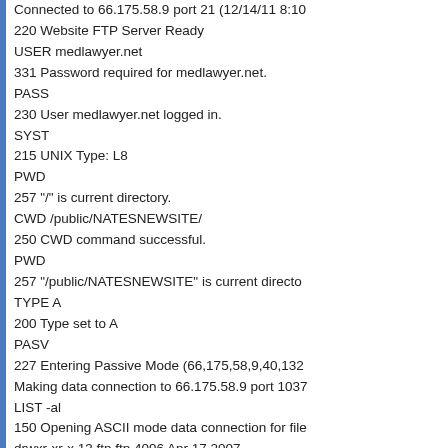Connected to 66.175.58.9 port 21 (12/14/11 8:10
220 Website FTP Server Ready
USER medlawyer.net
331 Password required for medlawyer.net.
PASS
230 User medlawyer.net logged in.
SYST
215 UNIX Type: L8
PWD
257 "/" is current directory.
CWD /public/NATESNEWSITE/
250 CWD command successful.
PWD
257 "/public/NATESNEWSITE" is current directo
TYPE A
200 Type set to A
PASV
227 Entering Passive Mode (66,175,58,9,40,132
Making data connection to 66.175.58.9 port 1037
LIST -al
150 Opening ASCII mode data connection for file
drwxr-xr-x 13 ftp ftp 4096 Apr 17 2007 .
drwxr-xr-x 17 ftp ftp 4096 Jun 30 11:45 ..
-rw-r--r-- 1 ftp ftp 326 Apr 17 2007 206.gif
drwxr-xr-x 2 ftp ftp 4096 Jun 30 11:45 _private
drwxr-xr-x 4 ftp ftp 4096 Jun 30 11:45 _vti_bin